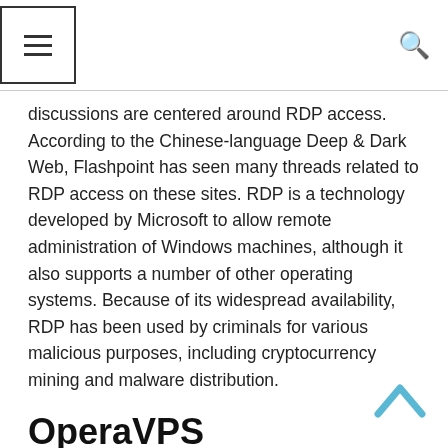≡  🔍
discussions are centered around RDP access. According to the Chinese-language Deep & Dark Web, Flashpoint has seen many threads related to RDP access on these sites. RDP is a technology developed by Microsoft to allow remote administration of Windows machines, although it also supports a number of other operating systems. Because of its widespread availability, RDP has been used by criminals for various malicious purposes, including cryptocurrency mining and malware distribution.
OperaVPS
If you are considering buying RDP, there are several